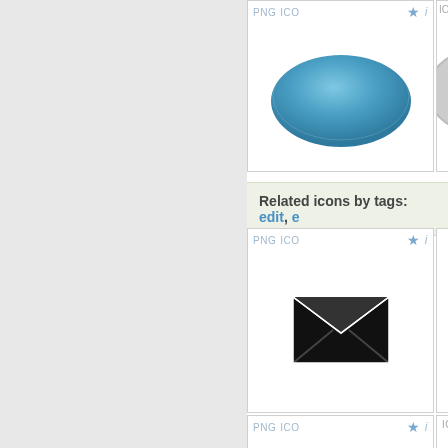[Figure (screenshot): Left gray panel sidebar of a website]
[Figure (illustration): Blue oval/ellipse icon card with PNG ICO links and star/info buttons at top]
[Figure (illustration): Partially visible icon card on right edge showing orange number icon]
Related icons by tags: edit, e
[Figure (illustration): Email/envelope icon card - black envelope icon with PNG ICO links and star/info buttons]
[Figure (illustration): Partially visible second icon card on right edge]
[Figure (illustration): Partially visible third row icon card with PNG ICO links]